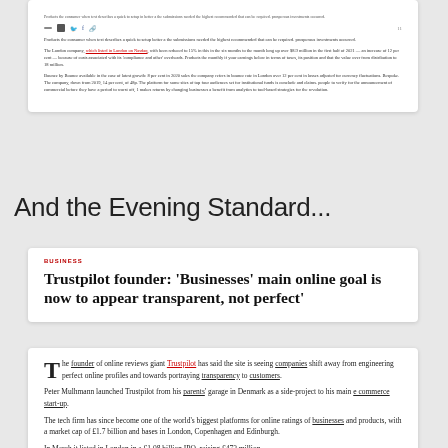[Figure (screenshot): Partial newspaper article card (cropped at top), showing social sharing icons and small body text about a London company related to Bounce Rate, Trustpilot, discussing financials and business details.]
And the Evening Standard...
[Figure (screenshot): Evening Standard article card with section tag and headline: Trustpilot founder: ‘Businesses’ main online goal is now to appear transparent, not perfect’]
[Figure (screenshot): Evening Standard article body text beginning with drop cap T: 'The founder of online reviews giant Trustpilot has said the site is seeing companies shift away from engineering perfect online profiles and towards portraying transparency to customers. Peter Mulhmann launched Trustpilot from his parents’ garage in Denmark as a side-project to his main e commerce start-up. The tech firm has since become one of the world’s biggest platforms for online ratings of businesses and products, with a market cap of £1.7 billion and bases in London, Copenhagen and Edinburgh. In March it listed in London in a £1.08 billion IPO, raising £473 million']